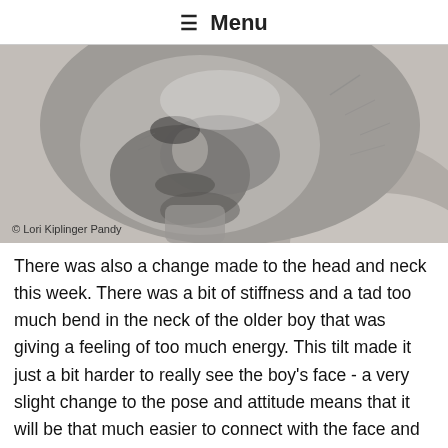☰ Menu
[Figure (photo): Close-up photograph of a clay or stone sculpture of a boy's face and neck, looking downward, with textured surface. Copyright © Lori Kiplinger Pandy.]
There was also a change made to the head and neck this week. There was a bit of stiffness and a tad too much bend in the neck of the older boy that was giving a feeling of too much energy. This tilt made it just a bit harder to really see the boy's face - a very slight change to the pose and attitude means that it will be that much easier to connect with the face and eyes for the viewer. The work needs to be caring but effortless - and act of sharing and bonding. So I did a bit of reconstruction